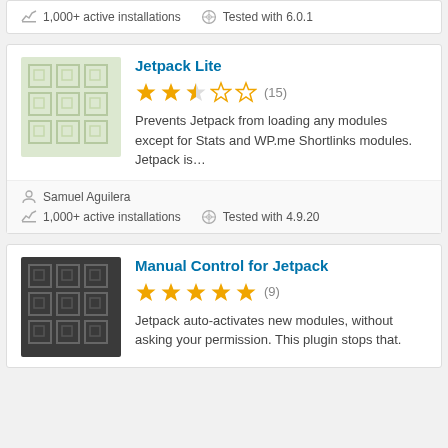1,000+ active installations   Tested with 6.0.1
Jetpack Lite
2.5 stars (15)
Prevents Jetpack from loading any modules except for Stats and WP.me Shortlinks modules. Jetpack is…
Samuel Aguilera
1,000+ active installations   Tested with 4.9.20
Manual Control for Jetpack
5 stars (9)
Jetpack auto-activates new modules, without asking your permission. This plugin stops that.